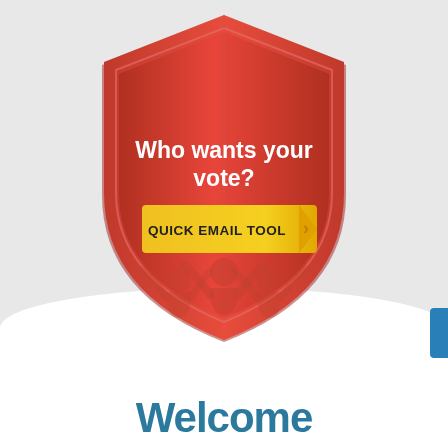[Figure (illustration): A large red shield/badge shape containing the text 'Who wants your vote?' and a yellow button labeled 'QUICK EMAIL TOOL' with a right-pointing arrow. At the bottom of the shield interior are silhouettes of people raising their hands.]
Welcome